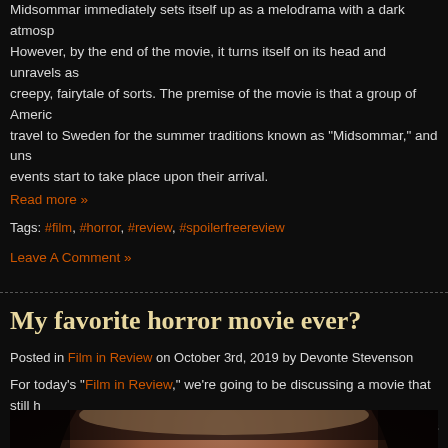Midsommar immediately sets itself up as a melodrama with a dark atmosph... However, by the end of the movie, it turns itself on its head and unravels as a creepy, fairytale of sorts. The premise of the movie is that a group of Americans travel to Sweden for the summer traditions known as "Midsommar," and unsettling events start to take place upon their arrival.
Read more »
Tags: #film, #horror, #review, #spoilerfreereview
Leave A Comment »
My favorite horror movie ever?
Posted in Film in Review on October 3rd, 2019 by Devonte Stevenson
For today's "Film in Review," we're going to be discussing a movie that still h... cold chill down my spine whenever I think about it, and that is Ari Aster's He...
[Figure (photo): Close-up of a person's eyes and forehead, dark dramatic lighting, appears to be a still from a horror film]